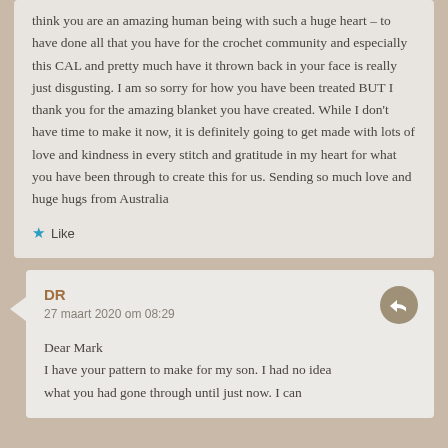think you are an amazing human being with such a huge heart – to have done all that you have for the crochet community and especially this CAL and pretty much have it thrown back in your face is really just disgusting. I am so sorry for how you have been treated BUT I thank you for the amazing blanket you have created. While I don't have time to make it now, it is definitely going to get made with lots of love and kindness in every stitch and gratitude in my heart for what you have been through to create this for us. Sending so much love and huge hugs from Australia
Like
DR
27 maart 2020 om 08:29
Dear Mark
I have your pattern to make for my son. I had no idea what you had gone through until just now. I can